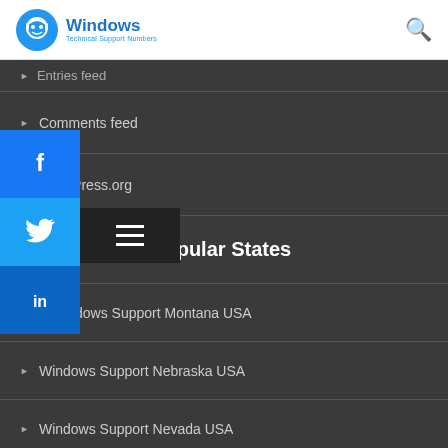Windows Technical Support Numbers
Entries feed
Comments feed
WordPress.org
Online Help for Popular States
Windows Support Montana USA
Windows Support Nebraska USA
Windows Support Nevada USA
Windows Support New Hampshire USA
Windows Support New Jersey USA